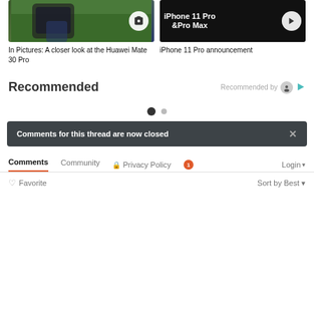[Figure (photo): Hand holding Huawei Mate 30 Pro smartphone with green leaf background, camera gallery icon overlay]
[Figure (screenshot): iPhone 11 Pro & Pro Max text on dark background with play button icon]
In Pictures: A closer look at the Huawei Mate 30 Pro
iPhone 11 Pro announcement
Recommended
Recommended by
Comments for this thread are now closed
Comments  Community  🔒 Privacy Policy  1  Login
♡ Favorite
Sort by Best